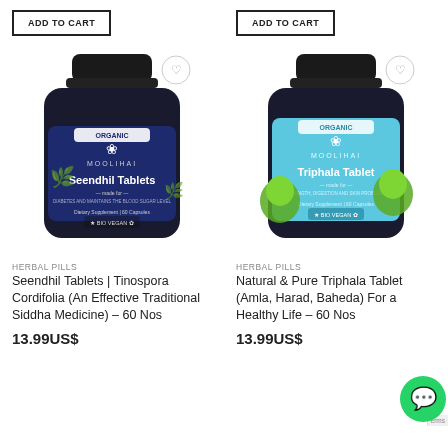ADD TO CART
ADD TO CART
[Figure (photo): Moolihai Organic Seendhil Tablets bottle with dark navy blue label, dietary supplement, 60 capsules]
[Figure (photo): Moolihai Organic Triphala Tablet bottle with light blue label, dietary supplement, 60 capsules]
HERBAL PILLS
Seendhil Tablets | Tinospora Cordifolia (An Effective Traditional Siddha Medicine) – 60 Nos
13.99US$
HERBAL PILLS
Natural & Pure Triphala Tablet (Amla, Harad, Baheda) For a Healthy Life – 60 Nos
13.99US$